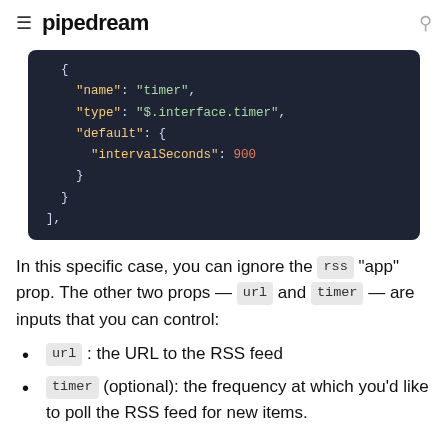≡ pipedream 🔍
[Figure (screenshot): Dark-themed code block showing JSON snippet with name, type, default, and intervalSeconds fields]
In this specific case, you can ignore the rss "app" prop. The other two props — url and timer — are inputs that you can control:
url : the URL to the RSS feed
timer (optional): the frequency at which you'd like to poll the RSS feed for new items.